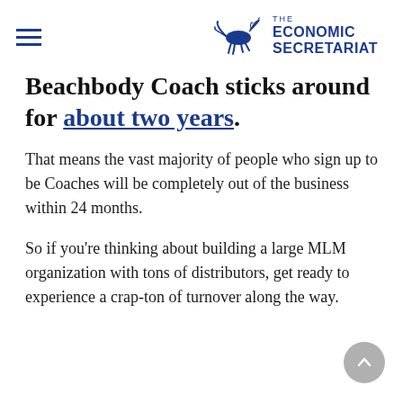THE ECONOMIC SECRETARIAT
Beachbody Coach sticks around for about two years.
That means the vast majority of people who sign up to be Coaches will be completely out of the business within 24 months.
So if you’re thinking about building a large MLM organization with tons of distributors, get ready to experience a crap-ton of turnover along the way.